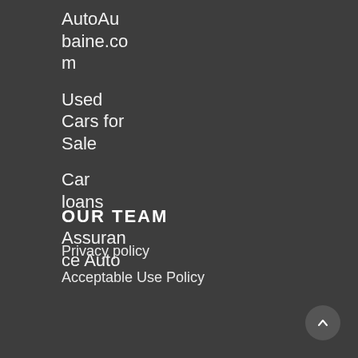AutoAubaine.com
Used Cars for Sale
Car loans
Assurance Auto
OUR TEAM
Privacy policy
Acceptable Use Policy